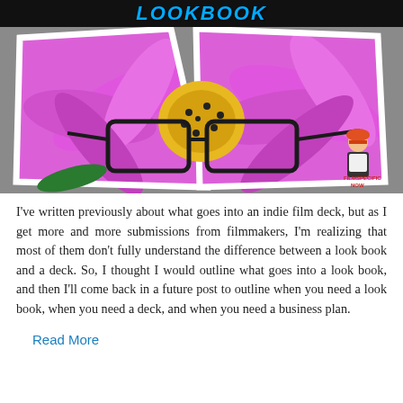LOOKBOOK
[Figure (photo): A tri-fold open book/brochure displaying a pink flower with a pair of black-rimmed glasses resting on it, on a gray background. A small illustrated mascot character appears in the lower right corner.]
I've written previously about what goes into an indie film deck, but as I get more and more submissions from filmmakers, I'm realizing that most of them don't fully understand the difference between a look book and a deck.  So, I thought I would outline what goes into a look book, and then I'll come back in a future post to outline when you need a look book, when you need a deck, and when you need a business plan.
Read More